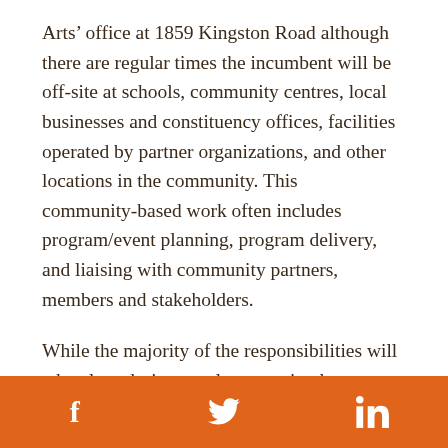Arts' office at 1859 Kingston Road although there are regular times the incumbent will be off-site at schools, community centres, local businesses and constituency offices, facilities operated by partner organizations, and other locations in the community. This community-based work often includes program/event planning, program delivery, and liaising with community partners, members and stakeholders.
While the majority of the responsibilities will take place during regular operating hours (9:00 AM to 5:00 PM, Monday to Friday), there will often be occasions when weekend and evening duties will be required and
f  [twitter]  in